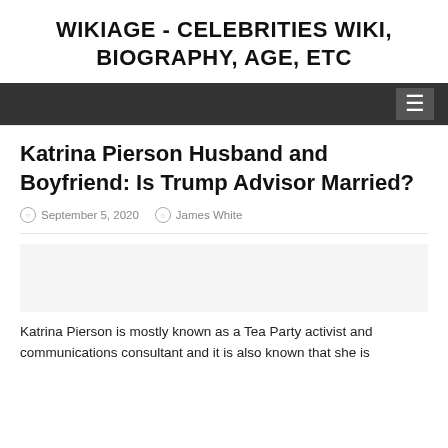WIKIAGE - CELEBRITIES WIKI, BIOGRAPHY, AGE, ETC
Katrina Pierson Husband and Boyfriend: Is Trump Advisor Married?
September 5, 2020  James White
Katrina Pierson is mostly known as a Tea Party activist and communications consultant and it is also known that she is